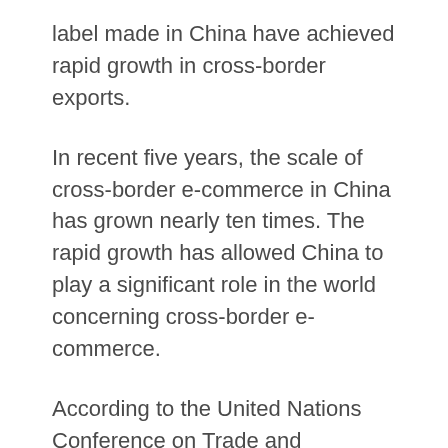label made in China have achieved rapid growth in cross-border exports.
In recent five years, the scale of cross-border e-commerce in China has grown nearly ten times. The rapid growth has allowed China to play a significant role in the world concerning cross-border e-commerce.
According to the United Nations Conference on Trade and Development, China became the largest economy for B2C cross-border e-commerce exports worldwide in 2019, followed by United